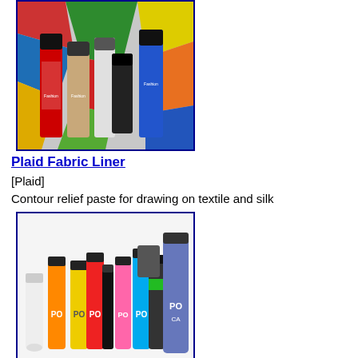[Figure (photo): Photo of Plaid Dimensional Fabric Paint bottles in various colors (red, black, beige, white, blue) with colorful artwork in the background]
Plaid Fabric Liner
[Plaid]
Contour relief paste for drawing on textile and silk
[Figure (photo): Photo of multiple POSCA paint markers/pens in various colors (white, orange, yellow, red, pink, black, cyan, green, dark gray, purple) arranged on a white surface]